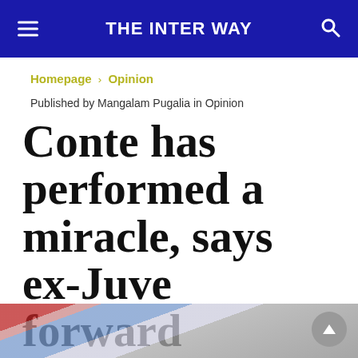THE INTER WAY
Homepage > Opinion
Published by Mangalam Pugalia in Opinion
Conte has performed a miracle, says ex-Juve forward
[Figure (photo): Partial photo of a person visible at the bottom of the page, blurred background with red and blue colors]